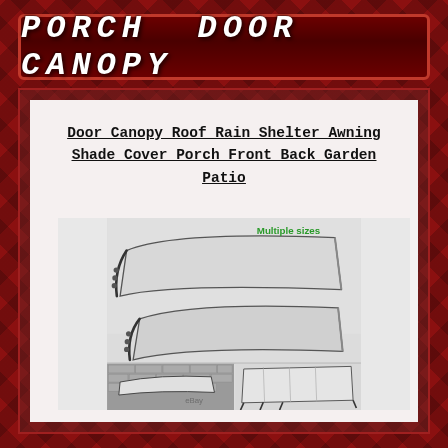PORCH DOOR CANOPY
Door Canopy Roof Rain Shelter Awning Shade Cover Porch Front Back Garden Patio
[Figure (photo): Product photo showing two porch door canopies with clear polycarbonate panels and black brackets, labeled 'Multiple sizes' in green text, plus two smaller photos below showing the canopy installed on a brick wall and a flat lay view of the canopy with metal frame support brackets. eBay watermark visible.]